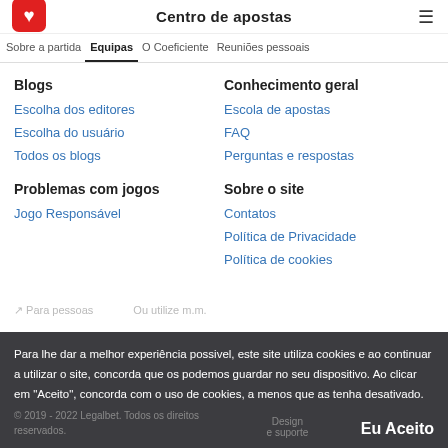Centro de apostas
Sobre a partida  Equipas  O Coeficiente  Reuniões pessoais
Blogs
Escolha dos editores
Escolha do usuário
Todos os blogs
Conhecimento geral
Escola de apostas
FAQ
Perguntas e respostas
Problemas com jogos
Jogo Responsável
Sobre o site
Contatos
Política de Privacidade
Política de cookies
Para lhe dar a melhor experiência possivel, este site utiliza cookies e ao continuar a utilizar o site, concorda que os podemos guardar no seu dispositivo. Ao clicar em "Aceito", concorda com o uso de cookies, a menos que as tenha desativado.
© 2019 - 2022 Legalbet. Todos os direitos reservados.
Design e suporte
Eu Aceito